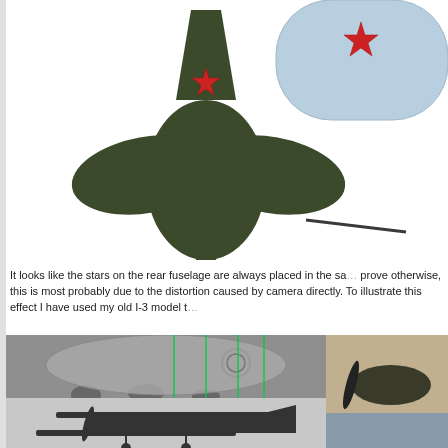[Figure (illustration): Top-down and side view technical illustration of a Soviet biplane (I-3 or similar), showing dark olive green fuselage with red stars markings, and a light blue wing/tail view with red star. Partially cropped at top.]
It looks like the stars on the rear fuselage are always placed in the sa prove otherwise, this is most probably due to the distortion caused by camera directly. To illustrate this effect I have used my old I-3 model t
[Figure (photo): Composite of black and white historical photographs of Soviet biplanes on the ground, with green vertical lines overlaid to show fuselage star placement alignment. Bottom photo shows a biplane side view. Right side shows a partial color model image.]